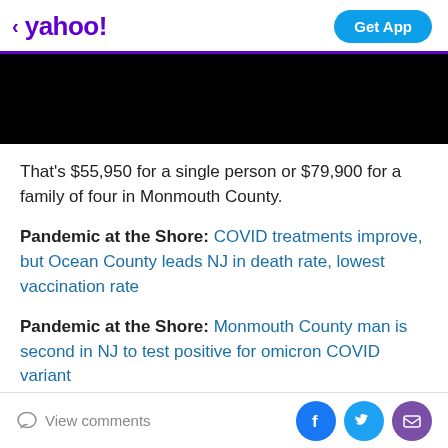< yahoo!  Get App
[Figure (other): Black banner advertisement area]
That's $55,950 for a single person or $79,900 for a family of four in Monmouth County.
Pandemic at the Shore: COVID treatments improve, but Ocean County leads NJ in death rate, lowest vaccination rate
Pandemic at the Shore: Monmouth County man is second in NJ to test positive for omicron COVID variant
The new contract means Solix will administer the program in 2022. The Parsippany-based company
View comments  [Facebook] [Twitter] [Mail]